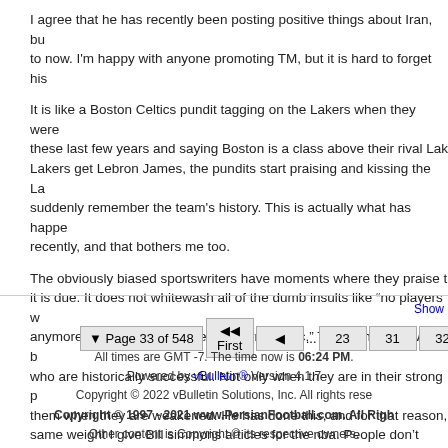I agree that he has recently been posting positive things about Iran, bu... to now. I'm happy with anyone promoting TM, but it is hard to forget his...
It is like a Boston Celtics pundit tagging on the Lakers when they were... these last few years and saying Boston is a class above their rival Lak... Lakers get Lebron James, the pundits start praising and kissing the La... suddenly remember the team's history. This is actually what has happe... recently, and that bothers me too.
The obviously biased sportswriters have moments where they praise t... it is due. It does not whitewash all of the dumb insults like "no players... anymore...", "LA's management is horrible, etc." There should always b... who are historically successful. Not only when they are in their strong p... them when they are weakened. He has done this, and for that reason,... same weight I give Bill simmons articles for the nba. People don't forge...
Page 33 of 548  First  ...  23 31 32 33 34 35 43 83
All times are GMT -7. The time now is 06:24 PM.
Powered by vBulletin® Version 4.1.7
Copyright © 2022 vBulletin Solutions, Inc. All rights rese...
Copyright © 1997 - 2021 www.PersianFootball.com. All Righ...
Other content is Copyright © its respective owners.
[Output: 23.18 Kb. compressed to 22.58 Kb. by saving 0.6...